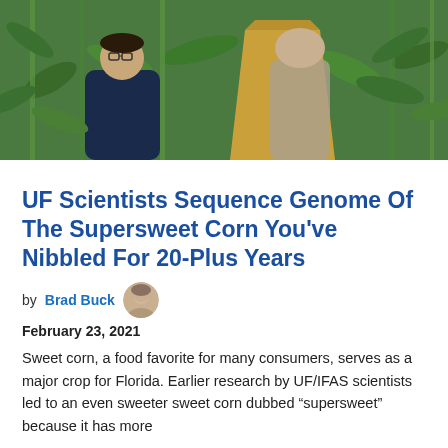[Figure (photo): Two researchers working in a corn/maize field. One person wearing a dark navy shirt and glasses is visible on the left, and another person holding a brown paper bag is visible on the right, surrounded by tall green corn plants.]
UF Scientists Sequence Genome Of The Supersweet Corn You've Nibbled For 20-Plus Years
by Brad Buck   February 23, 2021
Sweet corn, a food favorite for many consumers, serves as a major crop for Florida. Earlier research by UF/IFAS scientists led to an even sweeter sweet corn dubbed “supersweet” because it has more